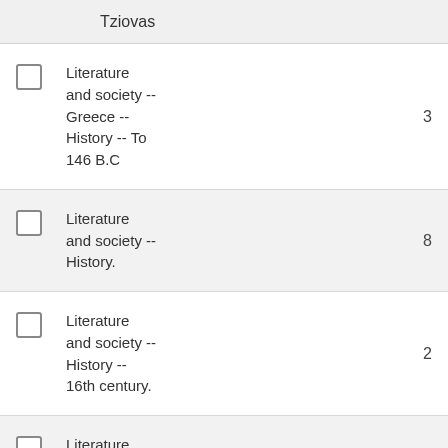Tziovas
Literature and society -- Greece -- History -- To 146 B.C
Literature and society -- History.
Literature and society -- History -- 16th century.
Literature